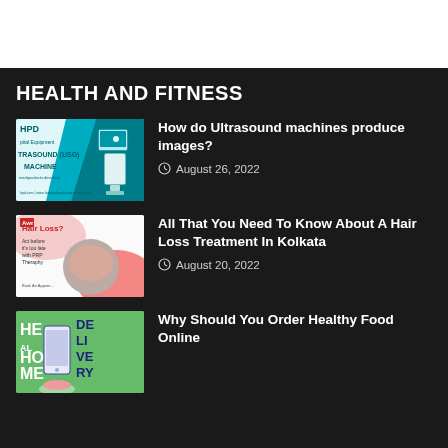HEALTH AND FITNESS
[Figure (photo): Ultrasound machine promotional image with HPD branding and teal/white background]
How do Ultrasound machines produce images?
August 26, 2022
[Figure (photo): Hair loss treatment promotional image showing person receiving PRP therapy treatment]
All That You Need To Know About A Hair Loss Treatment In Kolkata
August 20, 2022
[Figure (photo): Healthy food delivery promotional image with green background and phone mockup]
Why Should You Order Healthy Food Online